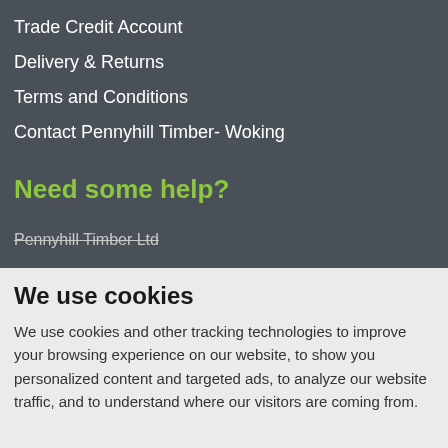Trade Credit Account
Delivery & Returns
Terms and Conditions
Contact Pennyhill Timber- Woking
Need some help?
Pennyhill Timber Ltd
We use cookies
We use cookies and other tracking technologies to improve your browsing experience on our website, to show you personalized content and targeted ads, to analyze our website traffic, and to understand where our visitors are coming from.